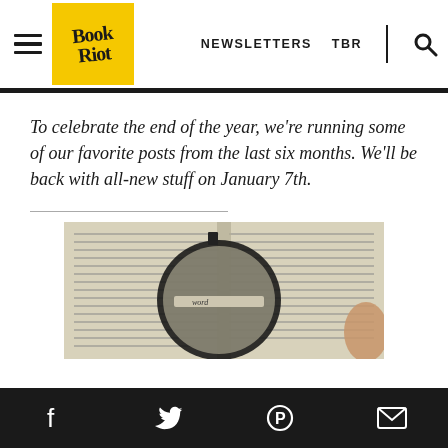Book Riot — NEWSLETTERS  TBR
To celebrate the end of the year, we're running some of our favorite posts from the last six months. We'll be back with all-new stuff on January 7th.
[Figure (photo): A magnifying glass resting on an open dictionary or book, magnifying the text on the page. A finger is visible at the right edge.]
Facebook  Twitter  Pinterest  Email (social sharing icons)